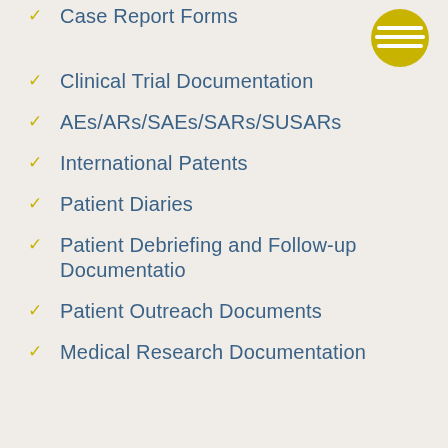Case Report Forms
[Figure (illustration): Yellow circular logo with horizontal white stripes, positioned top right]
Clinical Trial Documentation
AEs/ARs/SAEs/SARs/SUSARs
International Patents
Patient Diaries
Patient Debriefing and Follow-up Documentatio
Patient Outreach Documents
Medical Research Documentation